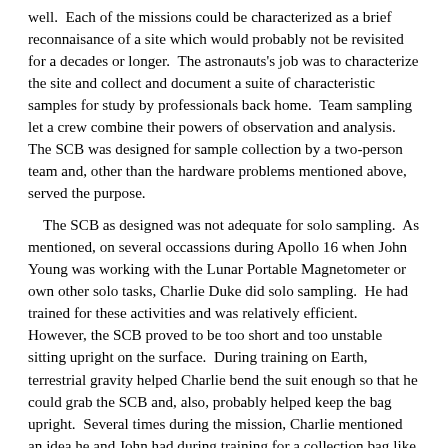well.  Each of the missions could be characterized as a brief reconnaisance of a site which would probably not be revisited for a decades or longer.  The astronauts's job was to characterize the site and collect and document a suite of characteristic samples for study by professionals back home.  Team sampling let a crew combine their powers of observation and analysis.  The SCB was designed for sample collection by a two-person team and, other than the hardware problems mentioned above, served the purpose.

    The SCB as designed was not adequate for solo sampling.  As mentioned, on several occassions during Apollo 16 when John Young was working with the Lunar Portable Magnetometer or own other solo tasks, Charlie Duke did solo sampling.  He had trained for these activities and was relatively efficient.  However, the SCB proved to be too short and too unstable sitting upright on the surface.  During training on Earth, terrestrial gravity helped Charlie bend the suit enough so that he could grab the SCB and, also, probably helped keep the bag upright.  Several times during the mission, Charlie mentioned an idea he and John had during training for a collection bag like a conventional shopping bag with a broad base and handles sitcking up on either side well